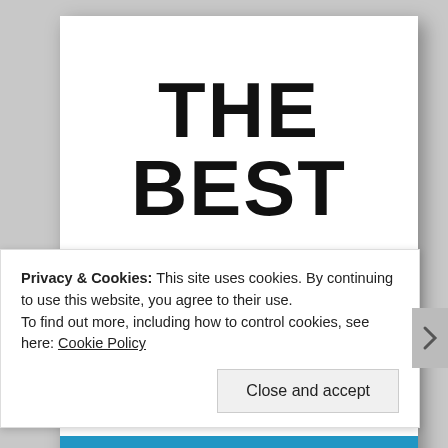[Figure (illustration): Book cover showing large bold text 'THE BEST IS YET TO' with a third partially visible line, white background with drop shadow]
Privacy & Cookies: This site uses cookies. By continuing to use this website, you agree to their use.
To find out more, including how to control cookies, see here: Cookie Policy
Close and accept